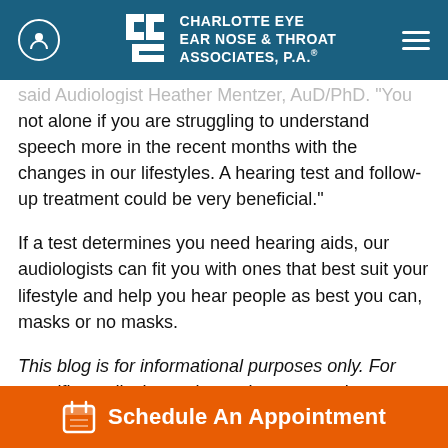Charlotte Eye Ear Nose & Throat Associates, P.A.
not alone if you are struggling to understand speech more in the recent months with the changes in our lifestyles. A hearing test and follow-up treatment could be very beneficial."
If a test determines you need hearing aids, our audiologists can fit you with ones that best suit your lifestyle and help you hear people as best you can, masks or no masks.
This blog is for informational purposes only. For specific medical questions, please consult your doctor.
Schedule An Appointment